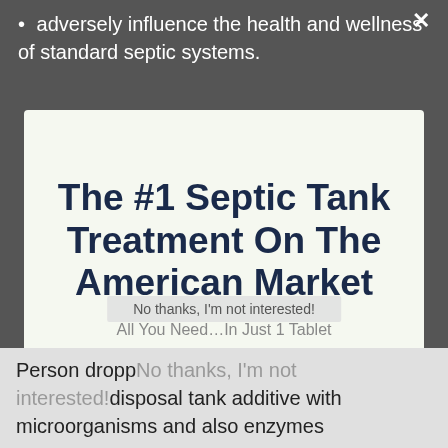adversely influence the health and wellness of standard septic systems.
The #1 Septic Tank Treatment On The American Market
All You Need…In Just 1 Tablet
LEARN MORE HERE
No thanks, I'm not interested!
Person dropp disposal tank additive with microorganisms and also enzymes